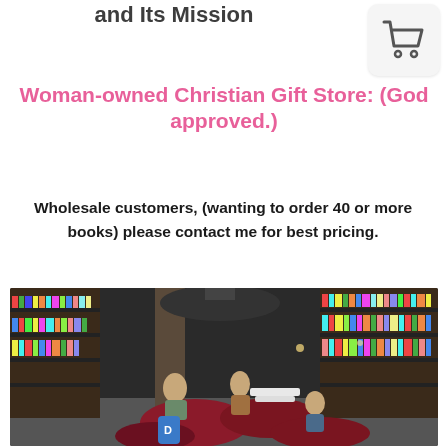and Its Mission
[Figure (logo): Shopping cart icon in a light gray rounded rectangle box]
Woman-owned Christian Gift Store: (God approved.)
Wholesale customers, (wanting to order 40 or more books) please contact me for best pricing.
[Figure (photo): Interior of a large bookstore with colorful bookshelves and people sitting on red bean bag chairs and couches reading books]